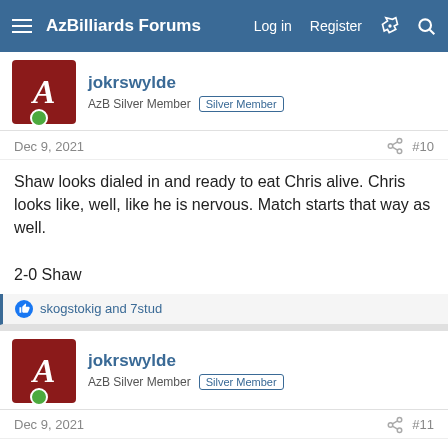AzBilliards Forums   Log in   Register
jokrswylde
AzB Silver Member  Silver Member
Dec 9, 2021  #10
Shaw looks dialed in and ready to eat Chris alive. Chris looks like, well, like he is nervous. Match starts that way as well.

2-0 Shaw
skogstokig and 7stud
jokrswylde
AzB Silver Member  Silver Member
Dec 9, 2021  #11
Chris scrambles and gets out of shape a couple times, but hits a good safety and pulls out the rack .